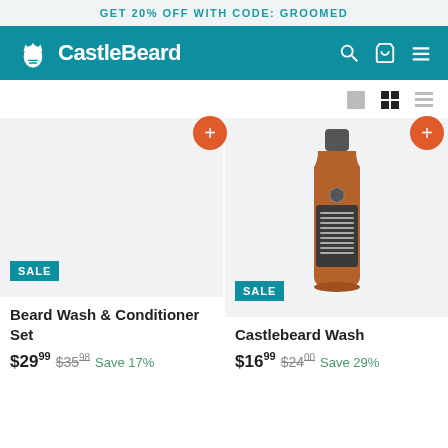GET 20% OFF WITH CODE: GROOMED
[Figure (logo): CastleBeard logo with navigation bar on teal background, including search, cart, and menu icons]
[Figure (other): Grid view toggle buttons and list view toggle buttons]
[Figure (photo): Product card: Beard Wash & Conditioner Set, SALE badge, light gray placeholder image, with orange + add button]
[Figure (photo): Product card: Castlebeard Wash, SALE badge, amber bottle product photo, with orange + add button]
Beard Wash & Conditioner Set
$29.99  $35.98  Save 17%
Castlebeard Wash
$16.99  $24.00  Save 29%